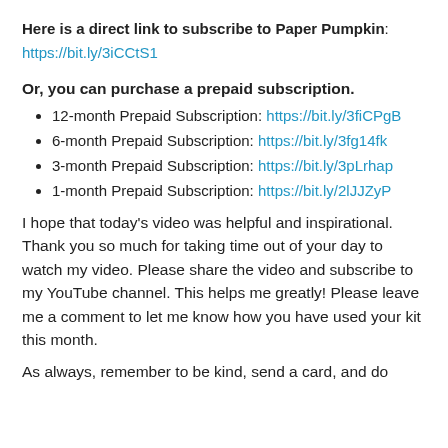Here is a direct link to subscribe to Paper Pumpkin: https://bit.ly/3iCCtS1
Or, you can purchase a prepaid subscription.
12-month Prepaid Subscription: https://bit.ly/3fiCPgB
6-month Prepaid Subscription: https://bit.ly/3fg14fk
3-month Prepaid Subscription: https://bit.ly/3pLrhap
1-month Prepaid Subscription: https://bit.ly/2lJJZyP
I hope that today’s video was helpful and inspirational. Thank you so much for taking time out of your day to watch my video. Please share the video and subscribe to my YouTube channel. This helps me greatly! Please leave me a comment to let me know how you have used your kit this month.
As always, remember to be kind, send a card, and do